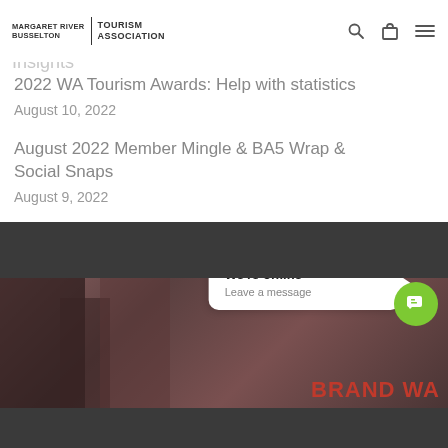Marketing & Visitor Servicing Update – July Insights / Margaret River Busselton Tourism Association
2022 WA Tourism Awards: Help with statistics
August 10, 2022
August 2022 Member Mingle & BA5 Wrap & Social Snaps
August 9, 2022
[Figure (photo): Photo strip at bottom with dark background and BRAND WA text overlay, plus a chat widget showing 'We're offline / Leave a message' with a green chat button]